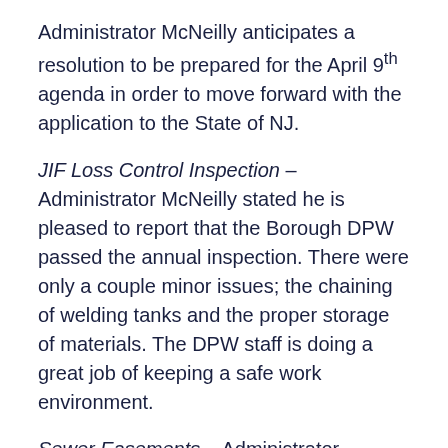Administrator McNeilly anticipates a resolution to be prepared for the April 9th agenda in order to move forward with the application to the State of NJ.
JIF Loss Control Inspection – Administrator McNeilly stated he is pleased to report that the Borough DPW passed the annual inspection. There were only a couple minor issues; the chaining of welding tanks and the proper storage of materials. The DPW staff is doing a great job of keeping a safe work environment.
Sewer Easements – Administrator McNeilly stated he, Jason Titsworth, DPW Superintendent, and Rob D... DPW...called the easement from the Bo...